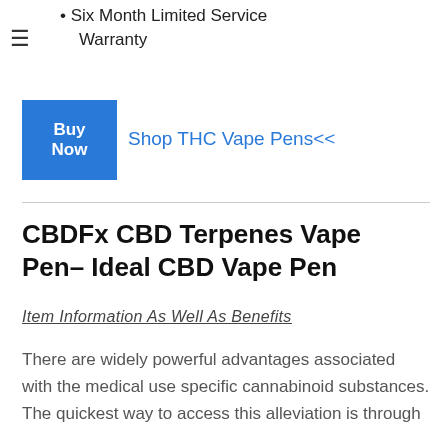Six Month Limited Service Warranty
[Figure (other): Blue 'Buy Now' button]
Shop THC Vape Pens<<
CBDFx CBD Terpenes Vape Pen– Ideal CBD Vape Pen
Item Information As Well As Benefits
There are widely powerful advantages associated with the medical use specific cannabinoid substances. The quickest way to access this alleviation is through